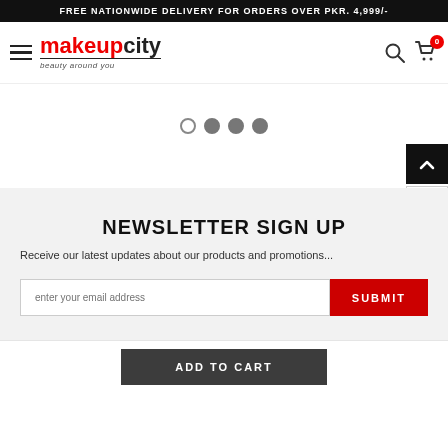FREE NATIONWIDE DELIVERY FOR ORDERS OVER PKR. 4,999/-
[Figure (logo): MakeupCity logo with tagline 'beauty around you' and navigation icons including hamburger menu, search, and cart with 0 items badge]
[Figure (other): Carousel slider dots: 4 dots, first empty outline, next three filled gray]
NEWSLETTER SIGN UP
Receive our latest updates about our products and promotions...
[Figure (screenshot): Email input field with placeholder 'enter your email address' and a red SUBMIT button]
ADD TO CART